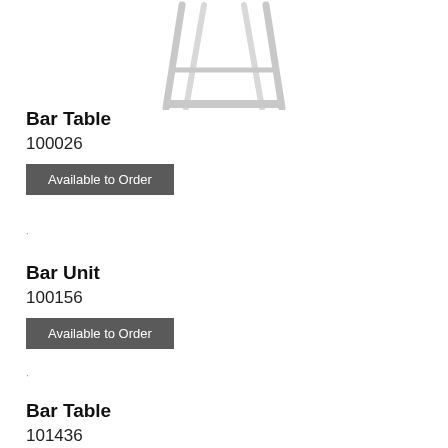[Figure (photo): Product photo of a bar table with a metal frame base, showing the legs and cross-support structure, white/silver finish, cropped at the top.]
Bar Table
100026
Available to Order
Bar Unit
100156
Available to Order
Bar Table
101436